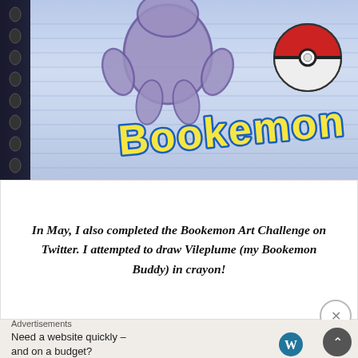[Figure (photo): A photo of a hand-drawn Pokémon (Vileplume) on lined notebook paper, drawn in purple crayon. The word 'Bookemon' is written in yellow bubble letters outlined in blue, with a Pokéball drawn in red and black in the upper right. The left side of the image shows the dark spiral binding of the notebook.]
In May, I also completed the Bookemon Art Challenge on Twitter. I attempted to draw Vileplume (my Bookemon Buddy) in crayon!
Advertisements
Need a website quickly – and on a budget?